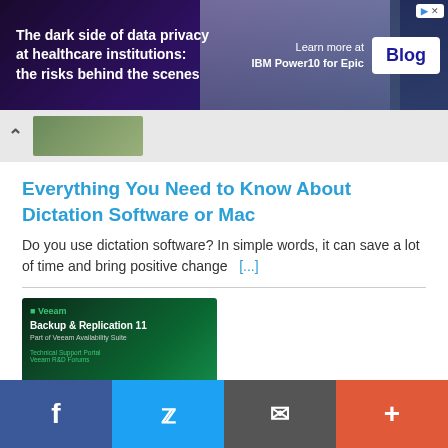[Figure (photo): Advertisement banner: dark purple/blue gradient background with text 'The dark side of data privacy at healthcare institutions: the risks behind the scenes' on left, person with laptop in center, IBM Power10 for Epic Blog button on right]
[Figure (photo): Thumbnail strip with up arrow chevron and a partial image]
Everything You Need to Know About Dictation Software or Mac
Do you use dictation software? In simple words, it can save a lot of time and bring positive change  [...]
[Figure (photo): Veeam Backup & Replication 11 product cover image with green tech design on dark background]
NEW Veeam Backup & Replication v11 is here!
Veeam 11 is here!! check it out [...]
[Figure (photo): Partial thumbnail of a dark device/hardware image]
Facebook  Twitter  Email  +